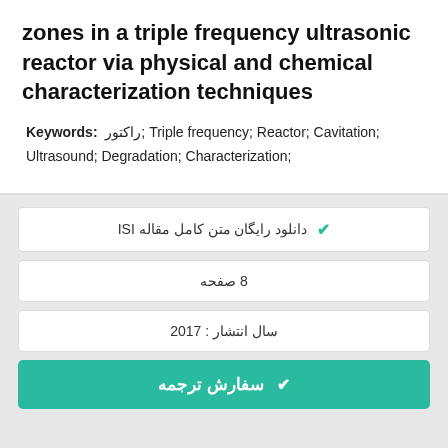zones in a triple frequency ultrasonic reactor via physical and chemical characterization techniques
Keywords: راکتور; Triple frequency; Reactor; Cavitation; Ultrasound; Degradation; Characterization;
✔ دانلود رایگان متن کامل مقاله ISI
8 صفحه
سال انتشار : 2017
✔ سفارش ترجمه